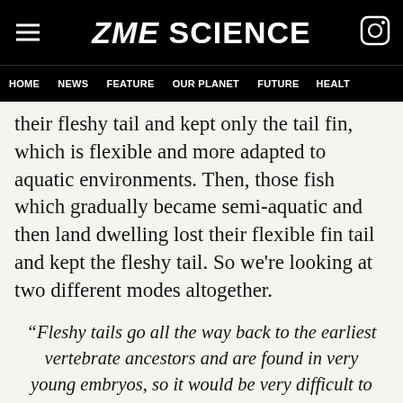ZME SCIENCE
HOME  NEWS  FEATURE  OUR PLANET  FUTURE  HEALTH
their fleshy tail and kept only the tail fin, which is flexible and more adapted to aquatic environments. Then, those fish which gradually became semi-aquatic and then land dwelling lost their flexible fin tail and kept the fleshy tail. So we're looking at two different modes altogether.
“Fleshy tails go all the way back to the earliest vertebrate ancestors and are found in very young embryos, so it would be very difficult to get rid of them entirely without causing other problems.” author Lauren